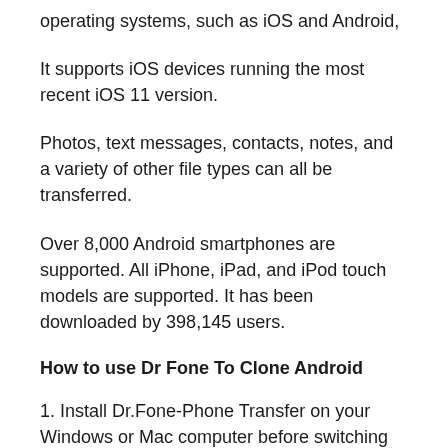operating systems, such as iOS and Android,
It supports iOS devices running the most recent iOS 11 version.
Photos, text messages, contacts, notes, and a variety of other file types can all be transferred.
Over 8,000 Android smartphones are supported. All iPhone, iPad, and iPod touch models are supported. It has been downloaded by 398,145 users.
How to use Dr Fone To Clone Android
1. Install Dr.Fone-Phone Transfer on your Windows or Mac computer before switching Android phones.Following that, you may connect both devices to the system and start the Dr.